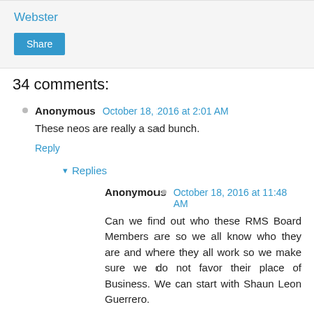Webster
Share
34 comments:
Anonymous October 18, 2016 at 2:01 AM
These neos are really a sad bunch.
Reply
Replies
Anonymous October 18, 2016 at 11:48 AM
Can we find out who these RMS Board Members are so we all know who they are and where they all work so we make sure we do not favor their place of Business. We can start with Shaun Leon Guerrero.